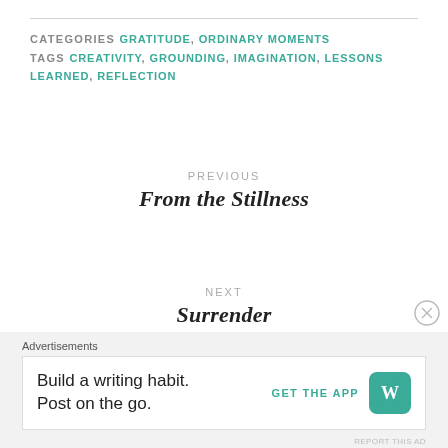CATEGORIES GRATITUDE, ORDINARY MOMENTS
TAGS CREATIVITY, GROUNDING, IMAGINATION, LESSONS LEARNED, REFLECTION
PREVIOUS
From the Stillness
NEXT
Surrender
Advertisements
Build a writing habit. Post on the go.
GET THE APP